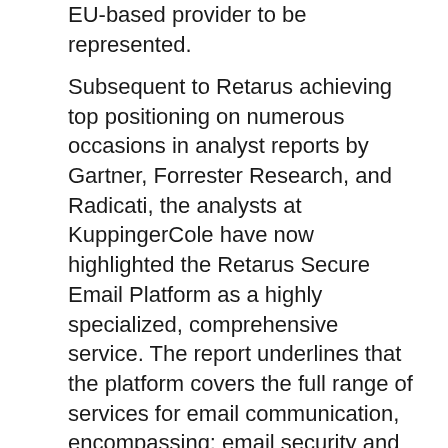EU-based provider to be represented.
Subsequent to Retarus achieving top positioning on numerous occasions in analyst reports by Gartner, Forrester Research, and Radicati, the analysts at KuppingerCole have now highlighted the Retarus Secure Email Platform as a highly specialized, comprehensive service. The report underlines that the platform covers the full range of services for email communication, encompassing: email security and continuity, transmission of transactional and marketing emails, real-time monitoring and analysis, as well as workflow and smart routing services. The top rating was achieved for email security, with its range of functions being characterized as “full-stack” and “complete”